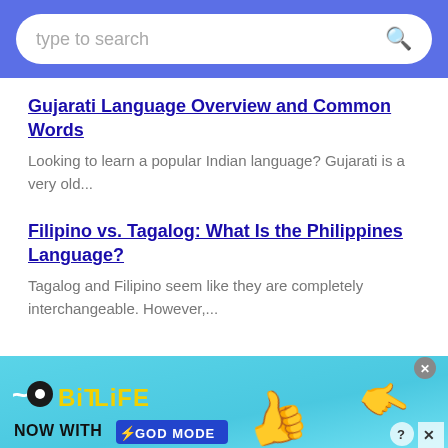type to search
Gujarati Language Overview and Common Words
Looking to learn a popular Indian language? Gujarati is a very old...
Filipino vs. Tagalog: What Is the Philippines Language?
Tagalog and Filipino seem like they are completely interchangeable. However,...
[Figure (screenshot): BitLife advertisement banner with 'NOW WITH GOD MODE' text, thumbs up and pointing hand graphics]